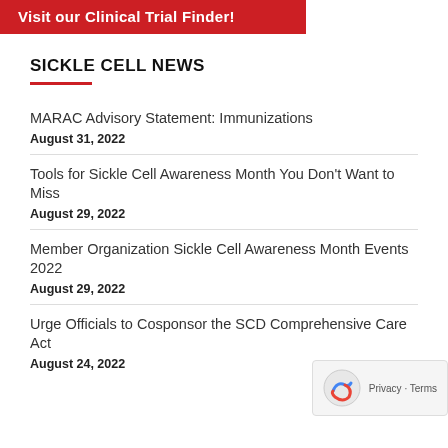[Figure (other): Red banner with white text: Visit our Clinical Trial Finder!]
SICKLE CELL NEWS
MARAC Advisory Statement: Immunizations
August 31, 2022
Tools for Sickle Cell Awareness Month You Don't Want to Miss
August 29, 2022
Member Organization Sickle Cell Awareness Month Events 2022
August 29, 2022
Urge Officials to Cosponsor the SCD Comprehensive Care Act
August 24, 2022